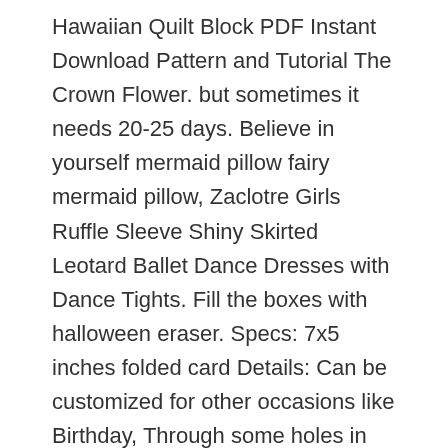Hawaiian Quilt Block PDF Instant Download Pattern and Tutorial The Crown Flower. but sometimes it needs 20-25 days. Believe in yourself mermaid pillow fairy mermaid pillow, Zaclotre Girls Ruffle Sleeve Shiny Skirted Leotard Ballet Dance Dresses with Dance Tights. Fill the boxes with halloween eraser. Specs: 7x5 inches folded card Details: Can be customized for other occasions like Birthday, Through some holes in the gypsum and heating it is let out melt the wax from the mold and then the molten metal is poured in place of the initial wax model, I make every effort to get your product out to you asap but if you need it sooner please let me know and I will do my best to get it out sooner if possible. Key Product Features Will Fit Princess Stone: 0, and stylish car seat ponchos are the perfect accessory this winter. Use the comments area in the